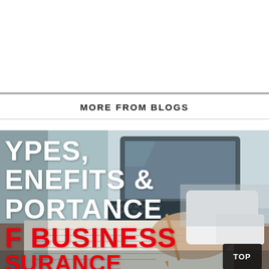MORE FROM BLOGS
[Figure (photo): Business professional writing notes at a desk with a laptop in the background, overlaid with bold white and red text reading 'TYPES, BENEFITS & IMPORTANCE OF BUSINESS INSURANCE']